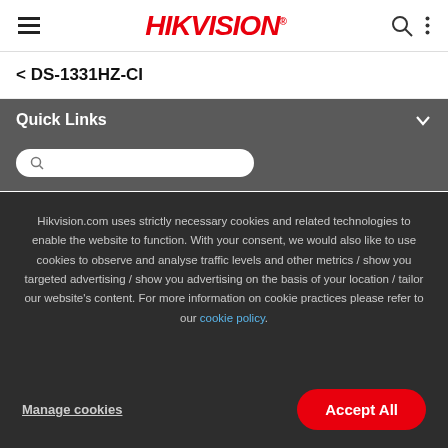[Figure (logo): Hikvision logo with hamburger menu icon on left and search/menu icons on right in a white navigation bar]
< DS-1331HZ-CI
Quick Links
Hikvision.com uses strictly necessary cookies and related technologies to enable the website to function. With your consent, we would also like to use cookies to observe and analyse traffic levels and other metrics / show you targeted advertising / show you advertising on the basis of your location / tailor our website's content. For more information on cookie practices please refer to our cookie policy.
Manage cookies
Accept All